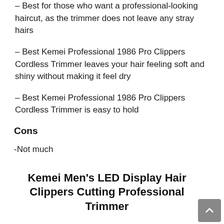– Best for those who want a professional-looking haircut, as the trimmer does not leave any stray hairs
– Best Kemei Professional 1986 Pro Clippers Cordless Trimmer leaves your hair feeling soft and shiny without making it feel dry
– Best Kemei Professional 1986 Pro Clippers Cordless Trimmer is easy to hold
Cons
-Not much
Kemei Men's LED Display Hair Clippers Cutting Professional Trimmer